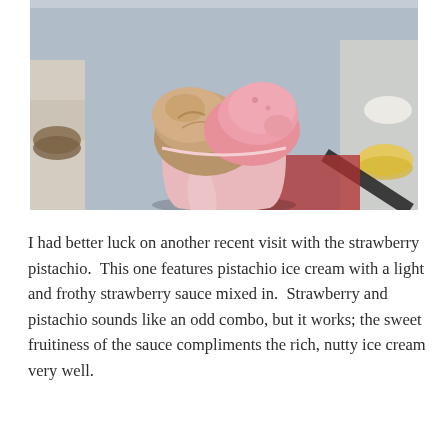[Figure (photo): A pink paper cup filled with two scoops of ice cream — a brown/tan pistachio scoop and a pink/red strawberry scoop — sitting on a glass display case in an ice cream shop. Other gelato flavors are visible in the background trays.]
I had better luck on another recent visit with the strawberry pistachio.  This one features pistachio ice cream with a light and frothy strawberry sauce mixed in.  Strawberry and pistachio sounds like an odd combo, but it works; the sweet fruitiness of the sauce compliments the rich, nutty ice cream very well.